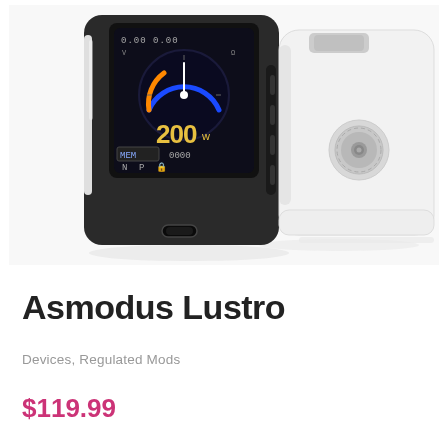[Figure (photo): Two vape box mods side by side: a black Asmodus Lustro mod on the left showing a colorful circular display screen with '200' wattage reading and USB-C port, and a white Asmodus Lustro mod on the right with a silver 510 connector, on a white background.]
Asmodus Lustro
Devices, Regulated Mods
$119.99